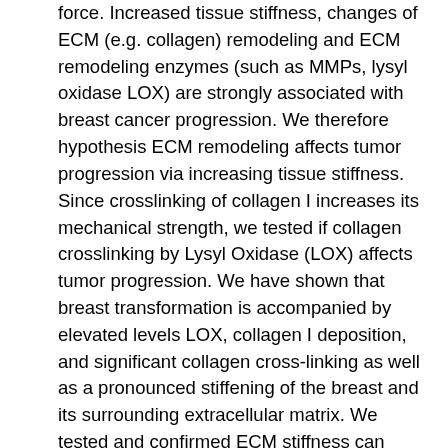force. Increased tissue stiffness, changes of ECM (e.g. collagen) remodeling and ECM remodeling enzymes (such as MMPs, lysyl oxidase LOX) are strongly associated with breast cancer progression. We therefore hypothesis ECM remodeling affects tumor progression via increasing tissue stiffness. Since crosslinking of collagen I increases its mechanical strength, we tested if collagen crosslinking by Lysyl Oxidase (LOX) affects tumor progression. We have shown that breast transformation is accompanied by elevated levels LOX, collagen I deposition, and significant collagen cross-linking as well as a pronounced stiffening of the breast and its surrounding extracellular matrix. We tested and confirmed ECM stiffness can modulate PTEN level and PI3K activity in the culture system. Thus, collagen crosslinking and substrate stiffness can modulate oncogene effects through PTEN and integrin dependent pathways and thus affect breast cancer progression. To this end we employ three dimensional organotypic culture models, xenograft and syngeneic mouse models,